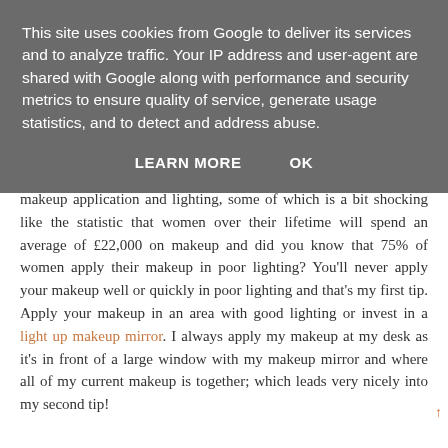This site uses cookies from Google to deliver its services and to analyze traffic. Your IP address and user-agent are shared with Google along with performance and security metrics to ensure quality of service, generate usage statistics, and to detect and address abuse.
LEARN MORE   OK
makeup application and lighting, some of which is a bit shocking like the statistic that women over their lifetime will spend an average of £22,000 on makeup and did you know that 75% of women apply their makeup in poor lighting? You'll never apply your makeup well or quickly in poor lighting and that's my first tip. Apply your makeup in an area with good lighting or invest in a light up makeup mirror. I always apply my makeup at my desk as it's in front of a large window with my makeup mirror and where all of my current makeup is together; which leads very nicely into my second tip!